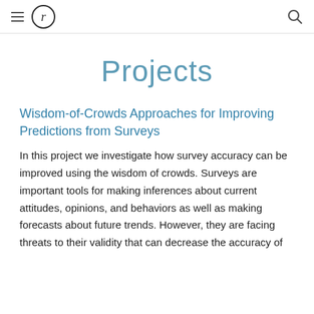≡ (r) [logo] Q
Projects
Wisdom-of-Crowds Approaches for Improving Predictions from Surveys
In this project we investigate how survey accuracy can be improved using the wisdom of crowds. Surveys are important tools for making inferences about current attitudes, opinions, and behaviors as well as making forecasts about future trends. However, they are facing threats to their validity that can decrease the accuracy of